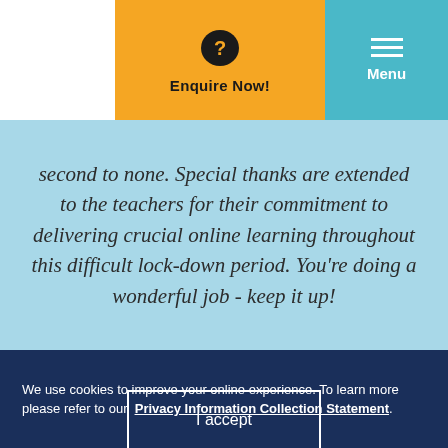[Figure (screenshot): Yellow Enquire Now button with speech bubble question mark icon, teal Menu button with hamburger icon]
second to none. Special thanks are extended to the teachers for their commitment to delivering crucial online learning throughout this difficult lock-down period. You're doing a wonderful job - keep it up!
We use cookies to improve your online experience. To learn more please refer to our Privacy Information Collection Statement.
I accept